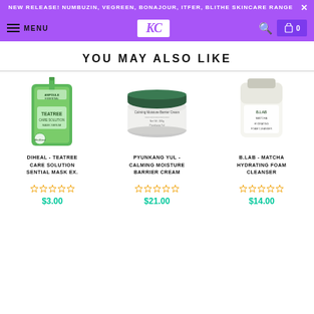NEW RELEASE! NUMBUZIN, VEGREEN, BONAJOUR, ITFER, BLITHE SKINCARE RANGE
MENU | KC logo | search | cart 0
YOU MAY ALSO LIKE
[Figure (photo): Mediheal Teatree Care Solution Essential Mask sheet packet, green colored packaging]
DIHEAL - TEATREE CARE SOLUTION ESSENTIAL MASK EX.
$3.00
[Figure (photo): Pyunkang Yul Calming Moisture Barrier Cream jar with dark green lid]
PYUNKANG YUL - CALMING MOISTURE BARRIER CREAM
$21.00
[Figure (photo): B.Lab Matcha Hydrating Foam Cleanser product (partially visible)]
B.LAB - MATCHA HYDRATING FOAM CLEANSER
$14.00